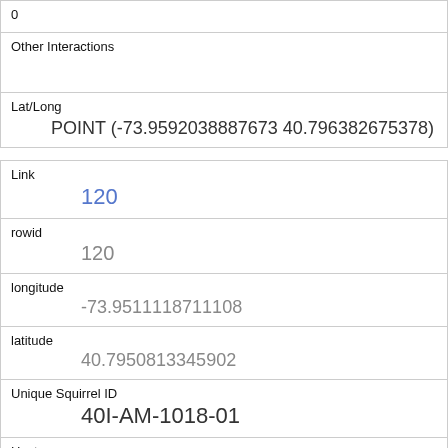| Other Interactions |  |
| Lat/Long | POINT (-73.9592038887673 40.796382675378) |
| Link | 120 |
| rowid | 120 |
| longitude | -73.9511118711108 |
| latitude | 40.7950813345902 |
| Unique Squirrel ID | 40I-AM-1018-01 |
| Hectare | 40I |
| Shift | AM |
| Date |  |